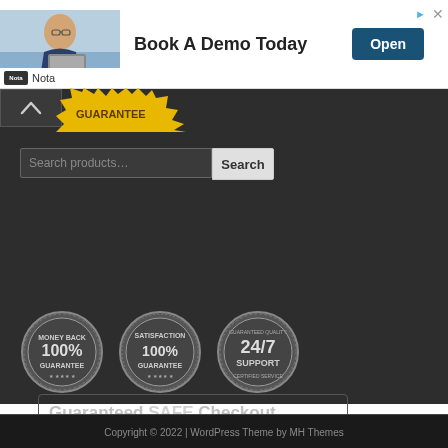[Figure (screenshot): Advertisement banner: photo of man at desk, 'Book A Demo Today' text, 'Open' button, Nota logo]
[Figure (screenshot): Guaranteed SAFE Checkout box with Visa, Mastercard, Amex, Discover, PayPal, SSL Secure Connection, McAfee SECURE, Verified & Secured badges]
[Figure (infographic): Three circular guarantee badges: '100% Money Back Guarantee', '100% Satisfaction Guarantee', '24/7 Support']
Copyright © 2022 | WordPress Theme by MH Themes